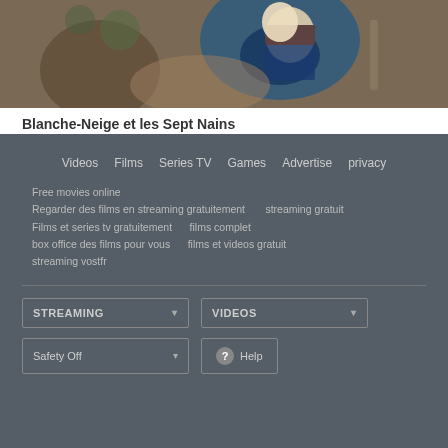[Figure (screenshot): Thumbnail image of Snow White (Blanche-Neige) animated scene]
Blanche-Neige et les Sept Nains
2,114,200 views
Videos
Films
Series TV
Games
Advertise
privacy
Free movies online
Regarder des films en streaming gratuitement      streaming gratuit
Films et series tv gratuitement      films complet
box office des films pour vous      films et videos gratuit
streaming vostfr
STREAMING ▾
VIDEOS ▾
Safety Off ▾
? Help